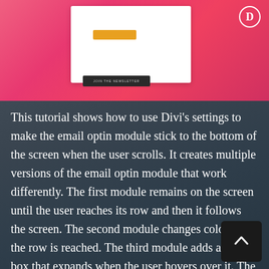[Figure (screenshot): Screenshot of an email optin module with a white card, orange/yellow button, and dark subscription bar, displayed against a pink gradient background with a Divi circle logo in the top right corner.]
This tutorial shows how to use Divi's settings to make the email optin module stick to the bottom of the screen when the user scrolls. It creates multiple versions of the email optin module that work differently. The first module remains on the screen until the user reaches its row and then it follows the screen. The second module changes color when the row is reached. The third module adds a small box that expands when the user hovers over it. The modules are available for download as a JSON file.